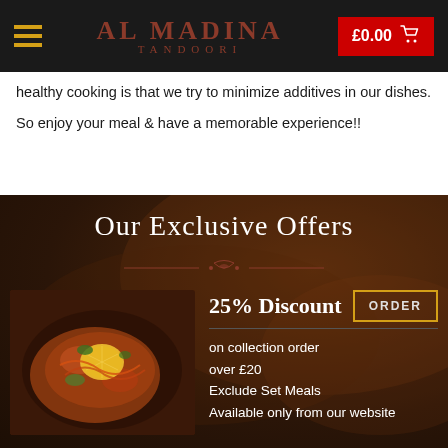AL MADINA TANDOORI  £0.00
healthy cooking is that we try to minimize additives in our dishes.
So enjoy your meal & have a memorable experience!!
Our Exclusive Offers
[Figure (photo): A plate of Indian dish with a lemon garnish and herbs]
25% Discount
on collection order
over £20
Exclude Set Meals
Available only from our website